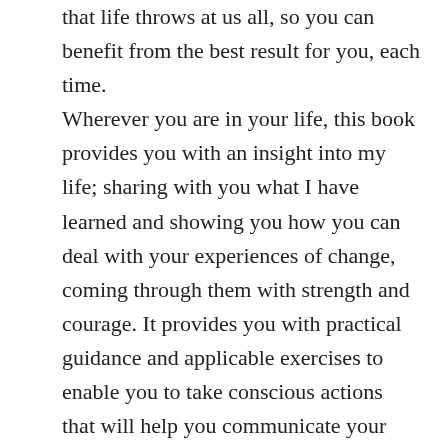that life throws at us all, so you can benefit from the best result for you, each time. Wherever you are in your life, this book provides you with an insight into my life; sharing with you what I have learned and showing you how you can deal with your experiences of change, coming through them with strength and courage. It provides you with practical guidance and applicable exercises to enable you to take conscious actions that will help you communicate your way through a variety of different changes. While the chapters can be read in isolation, the exercises can be applied to more than one change challenge. This book will also help you to understand that you are not alone and whenever you face these challenges, there is support from the insight shared